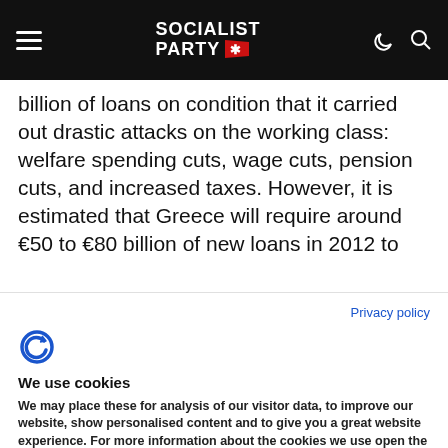Socialist Party
billion of loans on condition that it carried out drastic attacks on the working class: welfare spending cuts, wage cuts, pension cuts, and increased taxes. However, it is estimated that Greece will require around €50 to €80 billion of new loans in 2012 to
Privacy policy
We use cookies
We may place these for analysis of our visitor data, to improve our website, show personalised content and to give you a great website experience. For more information about the cookies we use open the settings.
Ok, continue
Deny
No, adjust